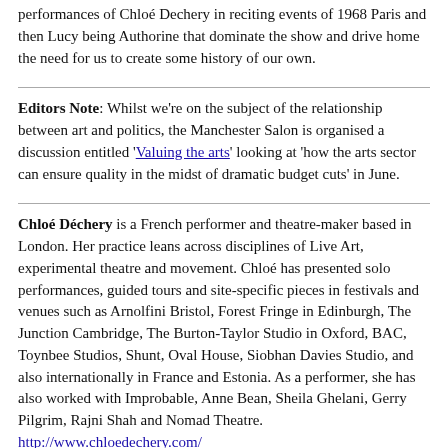performances of Chloe Dechery in reciting events of 1968 Paris and then Lucy being Authorine that dominate the show and drive home the need for us to create some history of our own.
Editors Note: Whilst we're on the subject of the relationship between art and politics, the Manchester Salon is organised a discussion entitled 'Valuing the arts' looking at 'how the arts sector can ensure quality in the midst of dramatic budget cuts' in June.
Chloé Déchery is a French performer and theatre-maker based in London. Her practice leans across disciplines of Live Art, experimental theatre and movement. Chloé has presented solo performances, guided tours and site-specific pieces in festivals and venues such as Arnolfini Bristol, Forest Fringe in Edinburgh, The Junction Cambridge, The Burton-Taylor Studio in Oxford, BAC, Toynbee Studios, Shunt, Oval House, Siobhan Davies Studio, and also internationally in France and Estonia. As a performer, she has also worked with Improbable, Anne Bean, Sheila Ghelani, Gerry Pilgrim, Rajni Shah and Nomad Theatre. http://www.chloedechery.com/